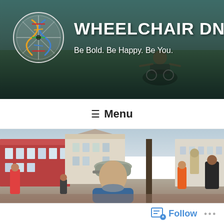[Figure (photo): Website header banner for 'Wheelchair DNA' blog. Shows a person in a wheelchair outdoors with arms outstretched against a natural landscape background. Includes a colorful circular DNA/wheel logo on the left, the site title 'WHEELCHAIR DNA' in large white bold text, and the tagline 'Be Bold. Be Happy. Be You.' below.]
WHEELCHAIR DNA
Be Bold. Be Happy. Be You.
☰ Menu
[Figure (photo): Street scene photo showing a young man in a blue puffer jacket and grey baseball cap looking back over his shoulder. Background shows a European town square with red-brick and white buildings, people walking, a statue, and trees. Overcast sky.]
Follow ...